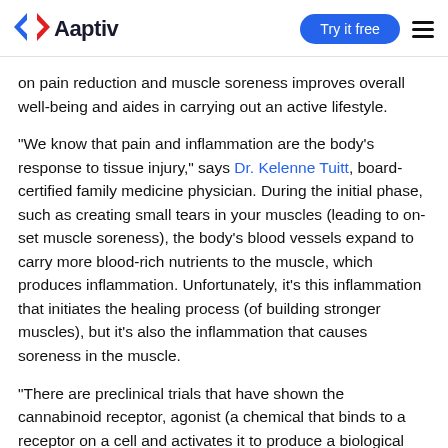Aaptiv | Try it free
on pain reduction and muscle soreness improves overall well-being and aides in carrying out an active lifestyle.
“We know that pain and inflammation are the body’s response to tissue injury,” says Dr. Kelenne Tuitt, board-certified family medicine physician. During the initial phase, such as creating small tears in your muscles (leading to on-set muscle soreness), the body’s blood vessels expand to carry more blood-rich nutrients to the muscle, which produces inflammation. Unfortunately, it’s this inflammation that initiates the healing process (of building stronger muscles), but it’s also the inflammation that causes soreness in the muscle.
“There are preclinical trials that have shown the cannabinoid receptor, agonist (a chemical that binds to a receptor on a cell and activates it to produce a biological response), can actually block pain” says Tuitt. She